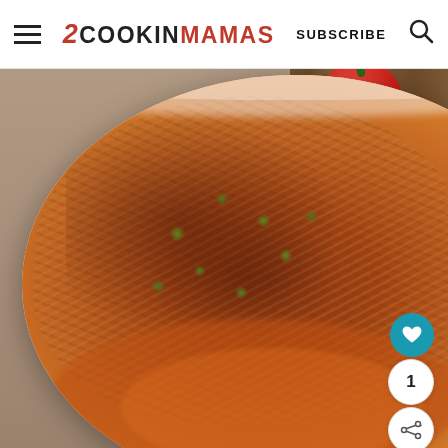2 COOKIN MAMAS   SUBSCRIBE
[Figure (photo): A white bowl filled with shredded chicken in a tomato-based sauce with green peppers, shown close-up. A red tomato and a green cloth napkin are visible in the background on a wooden surface. A teal heart icon button, a count badge showing 1, and a share icon are overlaid at the bottom right.]